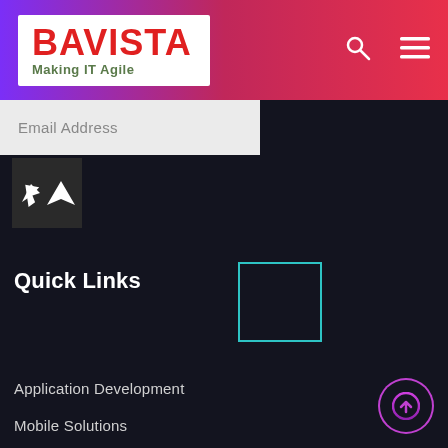[Figure (logo): Bavista logo with red text 'BAVISTA' and green tagline 'Making IT Agile' on white background, inside a gradient purple-to-red header bar with search and menu icons]
Email Address
[Figure (other): Dark send/submit button with white arrow icon]
Quick Links
[Figure (other): Teal outlined empty rectangle decoration]
Application Development
Mobile Solutions
Integrations
Managed Services
Project / Program Management Consulting
[Figure (other): Purple gradient circular up-arrow scroll-to-top button]